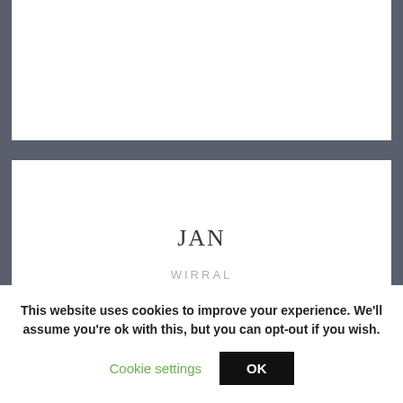JAN
WIRRAL
The coaching sessions that I received helped me to identify some important gaps in the
This website uses cookies to improve your experience. We'll assume you're ok with this, but you can opt-out if you wish.
Cookie settings
OK